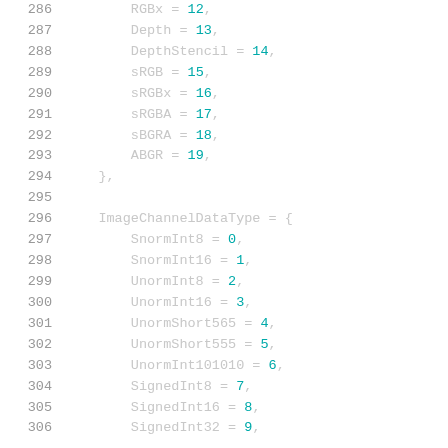286    RGBx = 12,
287    Depth = 13,
288    DepthStencil = 14,
289    sRGB = 15,
290    sRGBx = 16,
291    sRGBA = 17,
292    sBGRA = 18,
293    ABGR = 19,
294    },
295
296    ImageChannelDataType = {
297        SnormInt8 = 0,
298        SnormInt16 = 1,
299        UnormInt8 = 2,
300        UnormInt16 = 3,
301        UnormShort565 = 4,
302        UnormShort555 = 5,
303        UnormInt101010 = 6,
304        SignedInt8 = 7,
305        SignedInt16 = 8,
306        SignedInt32 = 9,